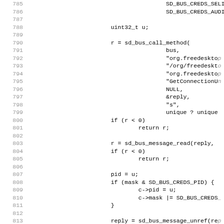[Figure (screenshot): Source code listing showing C code lines 785-817, including sd_bus_call_method, sd_bus_message_read, and related logic for SD_BUS_CREDS handling.]